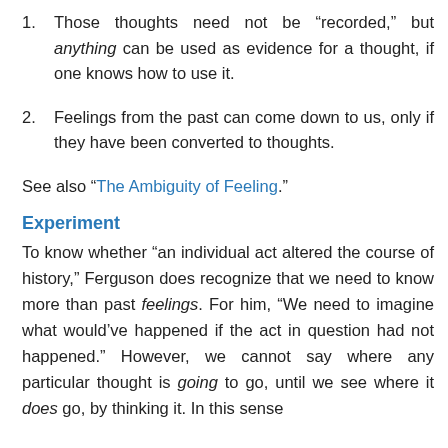Those thoughts need not be “recorded,” but anything can be used as evidence for a thought, if one knows how to use it.
Feelings from the past can come down to us, only if they have been converted to thoughts.
See also “The Ambiguity of Feeling.”
Experiment
To know whether “an individual act altered the course of history,” Ferguson does recognize that we need to know more than past feelings. For him, “We need to imagine what would’ve happened if the act in question had not happened.” However, we cannot say where any particular thought is going to go, until we see where it does go, by thinking it. In this sense